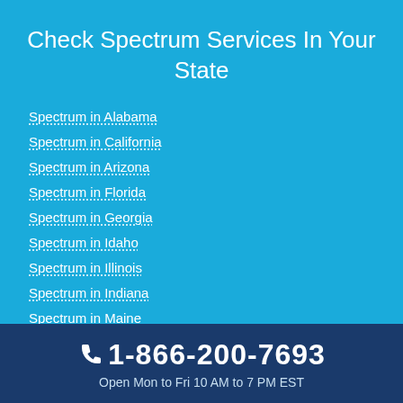Check Spectrum Services In Your State
Spectrum in Alabama
Spectrum in California
Spectrum in Arizona
Spectrum in Florida
Spectrum in Georgia
Spectrum in Idaho
Spectrum in Illinois
Spectrum in Indiana
Spectrum in Maine
Spectrum in Massachusetts
1-866-200-7693
Open Mon to Fri 10 AM to 7 PM EST